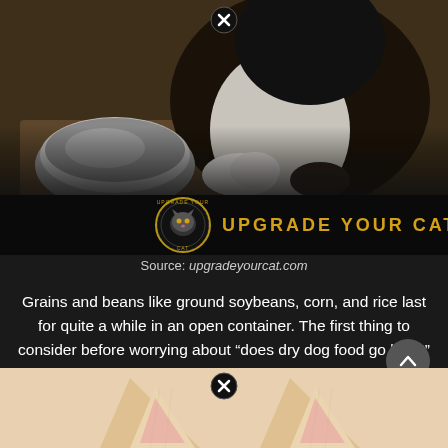[Figure (photo): A fluffy black and white cat near a silver metal bowl on a textured surface. The bottom portion of the image has a black banner with the 'Upgrade Your Cat' logo (circular badge with cat face) and golden text reading 'UPGRADE YOUR CAT'. A close/X button appears at the top center.]
Source: upgradeyourcat.com
Grains and beans like ground soybeans, corn, and rice last for quite a while in an open container. The first thing to consider before worrying about “does dry dog food go bad?” is how long your bag is.
[Figure (photo): Partial view of a light-colored animal (ears visible) at the very bottom of the page. A close/X button appears at the center bottom.]